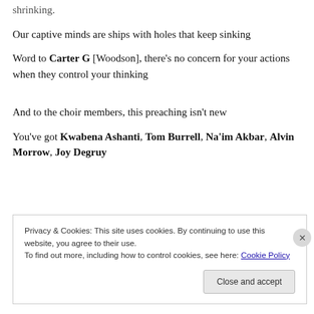shrinking.
Our captive minds are ships with holes that keep sinking
Word to Carter G [Woodson], there's no concern for your actions when they control your thinking
And to the choir members, this preaching isn't new
You've got Kwabena Ashanti, Tom Burrell, Na'im Akbar, Alvin Morrow, Joy Degruy
Privacy & Cookies: This site uses cookies. By continuing to use this website, you agree to their use. To find out more, including how to control cookies, see here: Cookie Policy